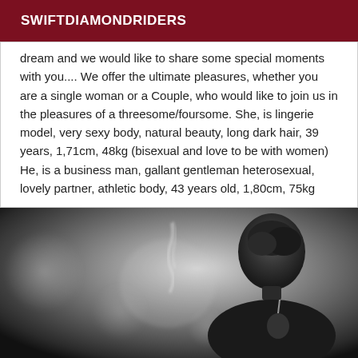SWIFTDIAMONDRIDERS
dream and we would like to share some special moments with you.... We offer the ultimate pleasures, whether you are a single woman or a Couple, who would like to join us in the pleasures of a threesome/foursome. She, is lingerie model, very sexy body, natural beauty, long dark hair, 39 years, 1,71cm, 48kg (bisexual and love to be with women) He, is a business man, gallant gentleman heterosexual, lovely partner, athletic body, 43 years old, 1,80cm, 75kg
[Figure (photo): Black and white photo of a woman seen from behind with dark upswept hair, holding a cigarette with smoke rising, against a blurred bokeh background.]